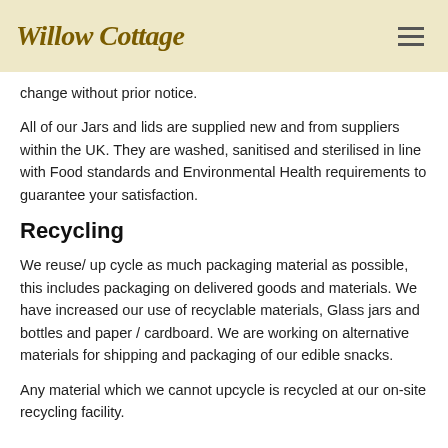Willow Cottage
change without prior notice.
All of our Jars and lids are supplied new and from suppliers within the UK. They are washed, sanitised and sterilised in line with Food standards and Environmental Health requirements to guarantee your satisfaction.
Recycling
We reuse/ up cycle as much packaging material as possible, this includes packaging on delivered goods and materials. We have increased our use of recyclable materials, Glass jars and bottles and paper / cardboard. We are working on alternative materials for shipping and packaging of our edible snacks.
Any material which we cannot upcycle is recycled at our on-site recycling facility.